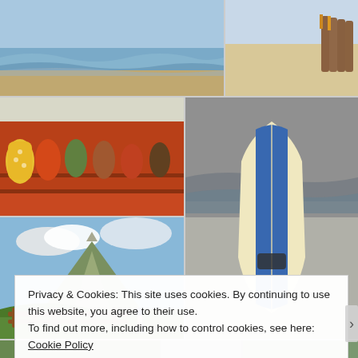[Figure (photo): Beach with waves and sandy shore, ocean water visible]
[Figure (photo): Boats lined up on a sandy beach, possibly Thailand]
[Figure (photo): Shop with colorful ceramic elephant figurines and souvenirs displayed on shelves]
[Figure (photo): Surfboard (white with blue stripes) lying on a grey sandy beach with waves in background, vintage filter]
[Figure (photo): View of a volcano (possibly Mayon) with green fields and a wooden fence, person standing nearby]
[Figure (photo): Partial bottom strip of photos]
Privacy & Cookies: This site uses cookies. By continuing to use this website, you agree to their use.
To find out more, including how to control cookies, see here: Cookie Policy
Close and accept